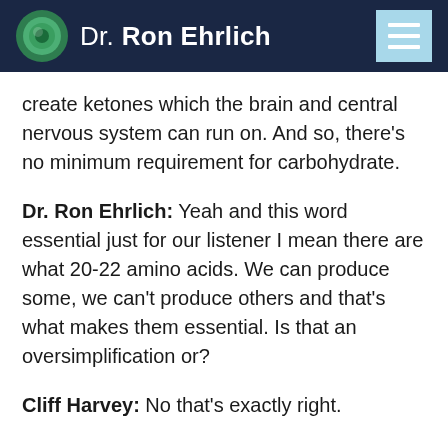Dr. Ron Ehrlich
create ketones which the brain and central nervous system can run on. And so, there’s no minimum requirement for carbohydrate.
Dr. Ron Ehrlich: Yeah and this word essential just for our listener I mean there are what 20-22 amino acids. We can produce some, we can’t produce others and that’s what makes them essential. Is that an oversimplification or?
Cliff Harvey: No that’s exactly right.